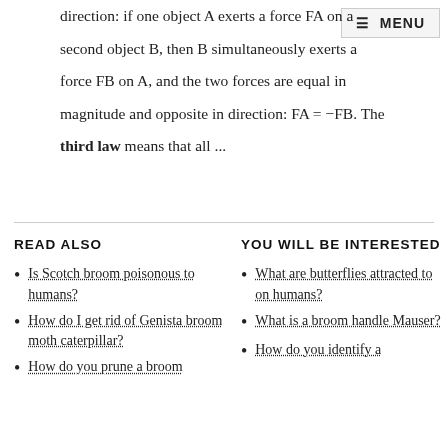direction: if one object A exerts a force FA on a second object B, then B simultaneously exerts a force FB on A, and the two forces are equal in magnitude and opposite in direction: FA = −FB. The third law means that all ...
READ ALSO
YOU WILL BE INTERESTED
Is Scotch broom poisonous to humans?
How do I get rid of Genista broom moth caterpillar?
How do you prune a broom
What are butterflies attracted to on humans?
What is a broom handle Mauser?
How do you identify a